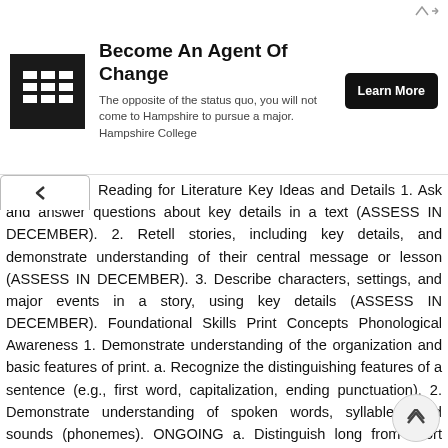[Figure (other): Advertisement banner for Hampshire College: logo with grid icon, headline 'Become An Agent Of Change', subtitle text, and 'Learn More' button.]
Reading for Literature Key Ideas and Details 1. Ask and answer questions about key details in a text (ASSESS IN DECEMBER). 2. Retell stories, including key details, and demonstrate understanding of their central message or lesson (ASSESS IN DECEMBER). 3. Describe characters, settings, and major events in a story, using key details (ASSESS IN DECEMBER). Foundational Skills Print Concepts Phonological Awareness 1. Demonstrate understanding of the organization and basic features of print. a. Recognize the distinguishing features of a sentence (e.g., first word, capitalization, ending punctuation). 2. Demonstrate understanding of spoken words, syllables, and sounds (phonemes). ONGOING a. Distinguish long from short vowel sounds in spoken single-syllable words. b. Orally produce single-syllable words by blending sounds (phonemes) including consonant blends. c. Isolate and pronounce initial, medial vowel, and final sounds (phonemes) in spoken single-syllable words. d. Segment